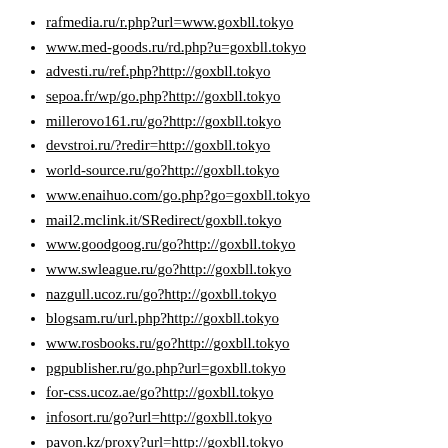rafmedia.ru/r.php?url=www.goxbll.tokyo
www.med-goods.ru/rd.php?u=goxbll.tokyo
advesti.ru/ref.php?http://goxbll.tokyo
sepoa.fr/wp/go.php?http://goxbll.tokyo
millerovo161.ru/go?http://goxbll.tokyo
devstroi.ru/?redir=http://goxbll.tokyo
world-source.ru/go?http://goxbll.tokyo
www.enaihuo.com/go.php?go=goxbll.tokyo
mail2.mclink.it/SRedirect/goxbll.tokyo
www.goodgoog.ru/go?http://goxbll.tokyo
www.swleague.ru/go?http://goxbll.tokyo
nazgull.ucoz.ru/go?http://goxbll.tokyo
blogsam.ru/url.php?http://goxbll.tokyo
www.rosbooks.ru/go?http://goxbll.tokyo
pgpublisher.ru/go.php?url=goxbll.tokyo
for-css.ucoz.ae/go?http://goxbll.tokyo
infosort.ru/go?url=http://goxbll.tokyo
pavon.kz/proxy?url=http://goxbll.tokyo
anonymize-me.de/?t=http://goxbll.tokyo